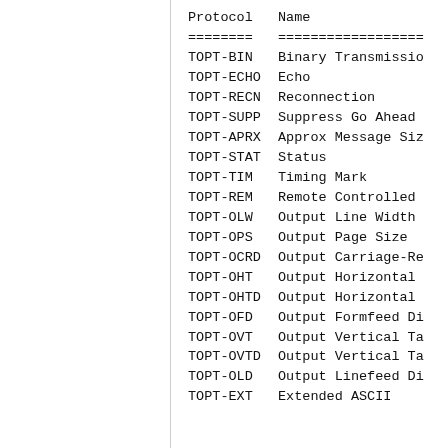| Protocol | Name |
| --- | --- |
| TOPT-BIN | Binary Transmission |
| TOPT-ECHO | Echo |
| TOPT-RECN | Reconnection |
| TOPT-SUPP | Suppress Go Ahead |
| TOPT-APRX | Approx Message Size |
| TOPT-STAT | Status |
| TOPT-TIM | Timing Mark |
| TOPT-REM | Remote Controlled |
| TOPT-OLW | Output Line Width |
| TOPT-OPS | Output Page Size |
| TOPT-OCRD | Output Carriage-Re |
| TOPT-OHT | Output Horizontal |
| TOPT-OHTD | Output Horizontal |
| TOPT-OFD | Output Formfeed Di |
| TOPT-OVT | Output Vertical Ta |
| TOPT-OVTD | Output Vertical Ta |
| TOPT-OLD | Output Linefeed Di |
| TOPT-EXT | Extended ASCII |